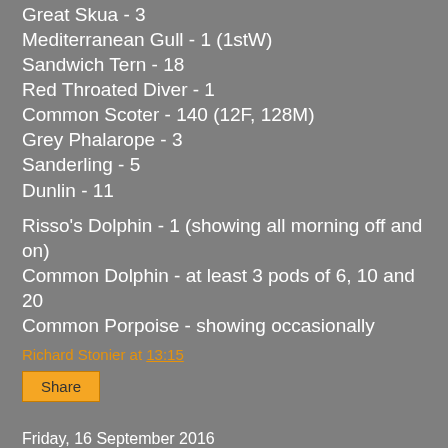Great Skua - 3
Mediterranean Gull - 1 (1stW)
Sandwich Tern - 18
Red Throated Diver - 1
Common Scoter - 140 (12F, 128M)
Grey Phalarope - 3
Sanderling - 5
Dunlin - 11
Risso's Dolphin - 1 (showing all morning off and on)
Common Dolphin - at least 3 pods of 6, 10 and 20
Common Porpoise - showing occasionally
Richard Stonier at 13:15
Share
Friday, 16 September 2016
More Breakwater Bits
Lots of Gannets off the breakwater this morning but more